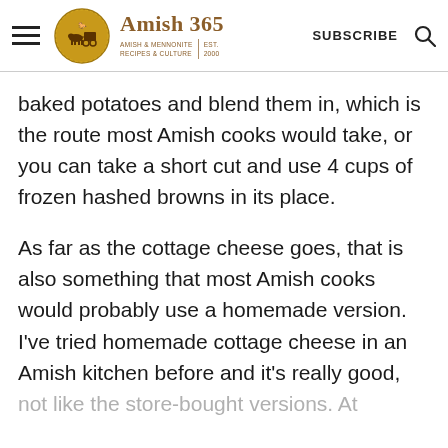Amish 365 — AMISH & MENNONITE RECIPES & CULTURE | EST. 2000 — SUBSCRIBE
baked potatoes and blend them in, which is the route most Amish cooks would take, or you can take a short cut and use 4 cups of frozen hashed browns in its place.
As far as the cottage cheese goes, that is also something that most Amish cooks would probably use a homemade version. I've tried homemade cottage cheese in an Amish kitchen before and it's really good, not like the store-bought versions. At